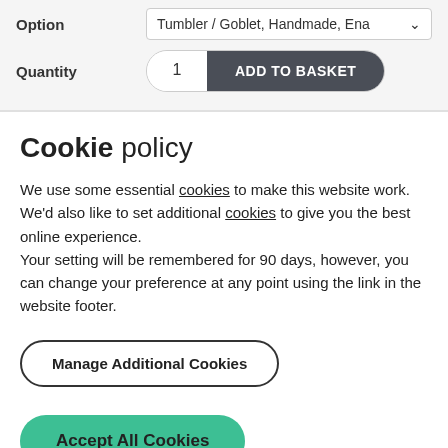Option
Tumbler / Goblet, Handmade, Enar
Quantity
1  ADD TO BASKET
Cookie policy
We use some essential cookies to make this website work. We'd also like to set additional cookies to give you the best online experience.
Your setting will be remembered for 90 days, however, you can change your preference at any point using the link in the website footer.
Manage Additional Cookies
Accept All Cookies